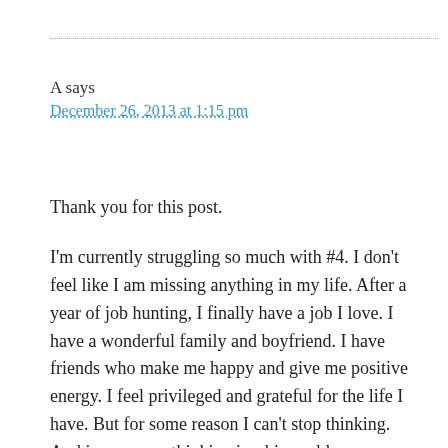A says
December 26, 2013 at 1:15 pm
Thank you for this post.
I'm currently struggling so much with #4. I don't feel like I am missing anything in my life. After a year of job hunting, I finally have a job I love. I have a wonderful family and boyfriend. I have friends who make me happy and give me positive energy. I feel privileged and grateful for the life I have. But for some reason I can't stop thinking. And in my case, thinking is a big problem as